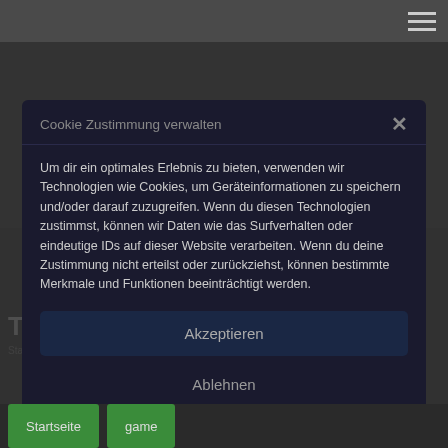☰ (hamburger menu)
Cookie Zustimmung verwalten
Um dir ein optimales Erlebnis zu bieten, verwenden wir Technologien wie Cookies, um Geräteinformationen zu speichern und/oder darauf zuzugreifen. Wenn du diesen Technologien zustimmst, können wir Daten wie das Surfverhalten oder eindeutige IDs auf dieser Website verarbeiten. Wenn du deine Zustimmung nicht erteilst oder zurückziehst, können bestimmte Merkmale und Funktionen beeinträchtigt werden.
Akzeptieren
Ablehnen
Einzelheiten ansehen
data protection  imprint
The Speicherstadt
Startseite  game